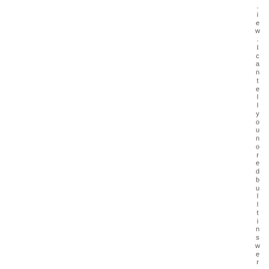.iew.Icantellyyounoredbulltinswere o